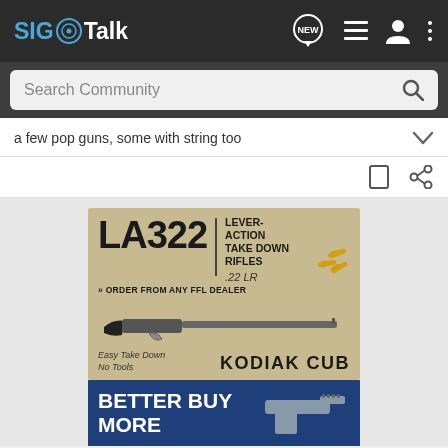SIG Talk
Search Community
a few pop guns, some with string too
[Figure (screenshot): LA322 Lever-Action Take Down Rifles .22 LR advertisement - Order From Any FFL Dealer - Kodiak Cub]
[Figure (screenshot): Better Buy More advertisement with firearm image]